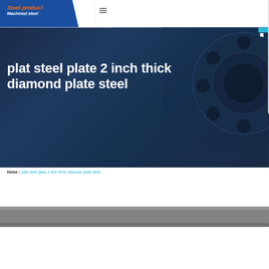Steel product | Machined steel
plat steel plate 2 inch thick diamond plate steel
[Figure (photo): Dark blue industrial background with metallic gear/cylinder components visible on the right side]
Home / plat steel plate 2 inch thick diamond plate steel
[Figure (photo): Partial bottom strip showing steel plate product image]